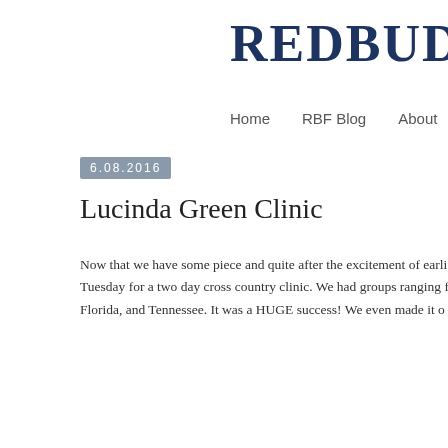REDBUD
Home   RBF Blog   About
6.08.2016
Lucinda Green Clinic
Now that we have some piece and quite after the excitement of earli... Tuesday for a two day cross country clinic. We had groups ranging f... Florida, and Tennessee. It was a HUGE success! We even made it o...
Day on...
Day two put t...
We were so lucky to have a number jump sponsors. The Oktibbeba... Stockman's Supply, and Midway Farms all made it possible to build ...